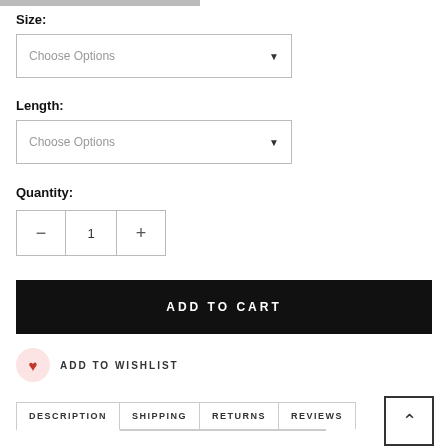Size:
[Figure (screenshot): Dropdown selector for Size with 'Choose Options' placeholder text and a down arrow]
Length:
[Figure (screenshot): Dropdown selector for Length with 'Choose Options' placeholder text and a down arrow]
Quantity:
[Figure (screenshot): Quantity stepper with minus button, value '1', and plus button]
ADD TO CART
ADD TO WISHLIST
DESCRIPTION  SHIPPING  RETURNS  REVIEWS